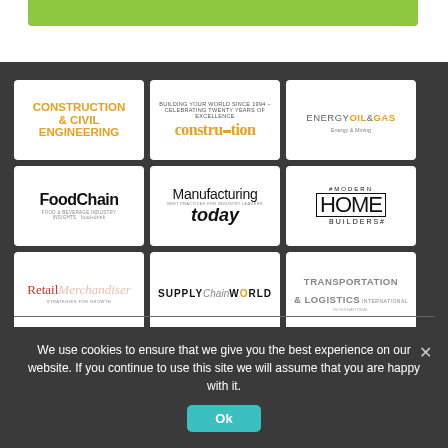[Figure (logo): Green bar at top of page]
[Figure (logo): Grid of 9 publication logos: Construction & Civil Engineering, Construction (orange), Energy Oil & Gas, FoodChain, Manufacturing Today, Modern Home Builders, Retail Merchandiser, Supply Chain World, Transportation & Logistics]
We use cookies to ensure that we give you the best experience on our website. If you continue to use this site we will assume that you are happy with it.
Ok